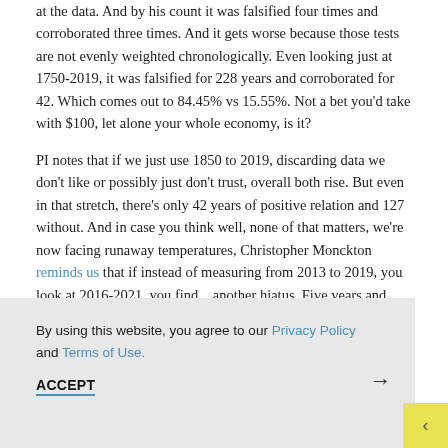at the data. And by his count it was falsified four times and corroborated three times. And it gets worse because those tests are not evenly weighted chronologically. Even looking just at 1750-2019, it was falsified for 228 years and corroborated for 42. Which comes out to 84.45% vs 15.55%. Not a bet you'd take with $100, let alone your whole economy, is it?
PI notes that if we just use 1850 to 2019, discarding data we don't like or possibly just don't trust, overall both rise. But even in that stretch, there's only 42 years of positive relation and 127 without. And in case you think well, none of that matters, we're now facing runaway temperatures, Christopher Monckton reminds us that if instead of measuring from 2013 to 2019, you look at 2016-2021, you find... another hiatus. Five years and seven months with rising CO2 and no warming.
By using this website, you agree to our Privacy Policy and Terms of Use.
ACCEPT